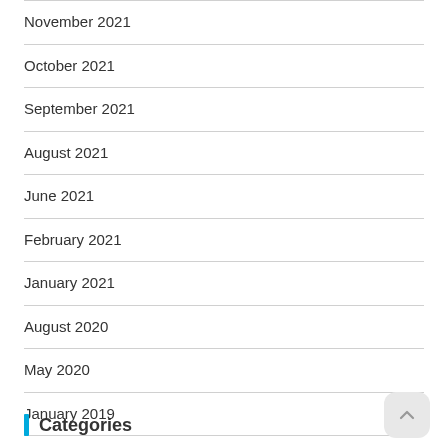November 2021
October 2021
September 2021
August 2021
June 2021
February 2021
January 2021
August 2020
May 2020
January 2019
Categories